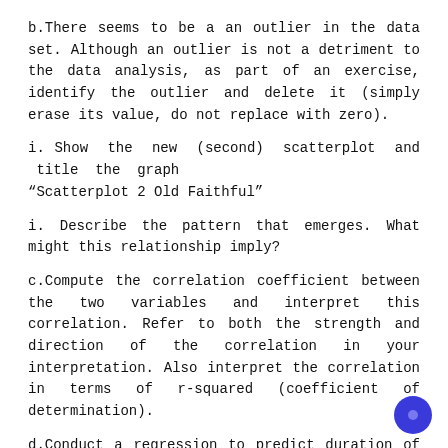b.There seems to be a an outlier in the data set. Although an outlier is not a detriment to the data analysis, as part of an exercise, identify the outlier and delete it (simply erase its value, do not replace with zero).
i. Show the new (second) scatterplot and title the graph “Scatterplot 2 Old Faithful”
i. Describe the pattern that emerges. What might this relationship imply?
c.Compute the correlation coefficient between the two variables and interpret this correlation. Refer to both the strength and direction of the correlation in your interpretation. Also interpret the correlation in terms of r-squared (coefficient of determination).
d.Conduct a regression to predict duration of an eruption using height and interpret the sample slope coefficient in words.
e.What is the predicted duration for an eruption that is 115?